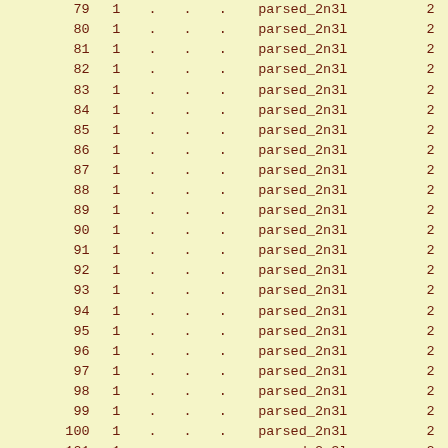| id | col2 | col3 | col4 | col5 | name | col7 |
| --- | --- | --- | --- | --- | --- | --- |
| 79 | 1 | . | . | . | parsed_2n3l | 2 |
| 80 | 1 | . | . | . | parsed_2n3l | 2 |
| 81 | 1 | . | . | . | parsed_2n3l | 2 |
| 82 | 1 | . | . | . | parsed_2n3l | 2 |
| 83 | 1 | . | . | . | parsed_2n3l | 2 |
| 84 | 1 | . | . | . | parsed_2n3l | 2 |
| 85 | 1 | . | . | . | parsed_2n3l | 2 |
| 86 | 1 | . | . | . | parsed_2n3l | 2 |
| 87 | 1 | . | . | . | parsed_2n3l | 2 |
| 88 | 1 | . | . | . | parsed_2n3l | 2 |
| 89 | 1 | . | . | . | parsed_2n3l | 2 |
| 90 | 1 | . | . | . | parsed_2n3l | 2 |
| 91 | 1 | . | . | . | parsed_2n3l | 2 |
| 92 | 1 | . | . | . | parsed_2n3l | 2 |
| 93 | 1 | . | . | . | parsed_2n3l | 2 |
| 94 | 1 | . | . | . | parsed_2n3l | 2 |
| 95 | 1 | . | . | . | parsed_2n3l | 2 |
| 96 | 1 | . | . | . | parsed_2n3l | 2 |
| 97 | 1 | . | . | . | parsed_2n3l | 2 |
| 98 | 1 | . | . | . | parsed_2n3l | 2 |
| 99 | 1 | . | . | . | parsed_2n3l | 2 |
| 100 | 1 | . | . | . | parsed_2n3l | 2 |
| 101 | 1 | . | . | . | parsed_2n3l | 2 |
| 102 | 1 | . | . | . | parsed_2n3l | 2 |
| 103 | 1 | . | . | . | parsed_2n3l | 2 |
| 104 | 1 | . | . | . | parsed_2n3l | 2 |
| 105 | 1 | . | . | . | parsed_2n3l | 2 |
| 106 | 1 | . | . | . | parsed_2n3l | 2 |
| 107 | 1 | . | . | . | parsed_2n3l | 2 |
| 108 | 1 | . | . | . | parsed_2n3l | 2 |
| 109 | 1 | . | . | . | parsed_2n3l | 2 |